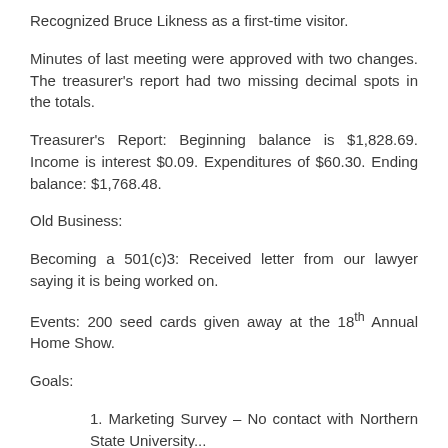Recognized Bruce Likness as a first-time visitor.
Minutes of last meeting were approved with two changes. The treasurer's report had two missing decimal spots in the totals.
Treasurer's Report: Beginning balance is $1,828.69. Income is interest $0.09. Expenditures of $60.30. Ending balance: $1,768.48.
Old Business:
Becoming a 501(c)3: Received letter from our lawyer saying it is being worked on.
Events: 200 seed cards given away at the 18th Annual Home Show.
Goals:
1. Marketing Survey – No contact with Northern State University...